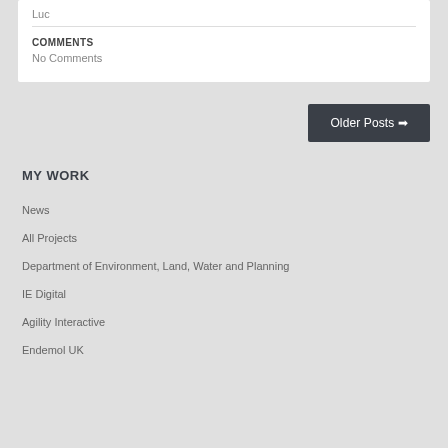Luc
COMMENTS
No Comments
Older Posts →
MY WORK
News
All Projects
Department of Environment, Land, Water and Planning
IE Digital
Agility Interactive
Endemol UK